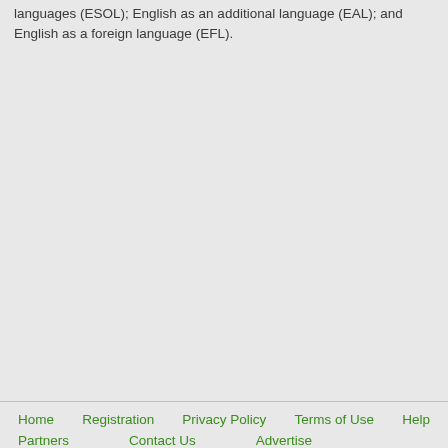languages (ESOL); English as an additional language (EAL); and English as a foreign language (EFL).
Home   Registration   Privacy Policy   Terms of Use   Help